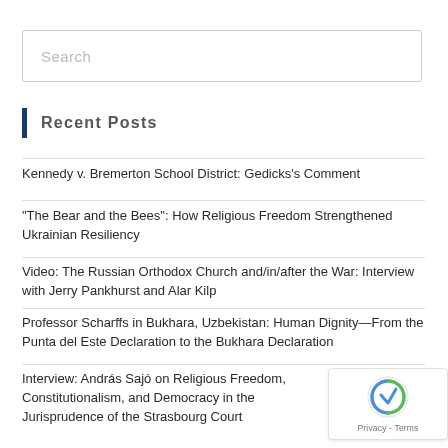Search
Recent Posts
Kennedy v. Bremerton School District: Gedicks's Comment
"The Bear and the Bees": How Religious Freedom Strengthened Ukrainian Resiliency
Video: The Russian Orthodox Church and/in/after the War: Interview with Jerry Pankhurst and Alar Kilp
Professor Scharffs in Bukhara, Uzbekistan: Human Dignity—From the Punta del Este Declaration to the Bukhara Declaration
Interview: András Sajó on Religious Freedom, Constitutionalism, and Democracy in the Jurisprudence of the Strasbourg Court